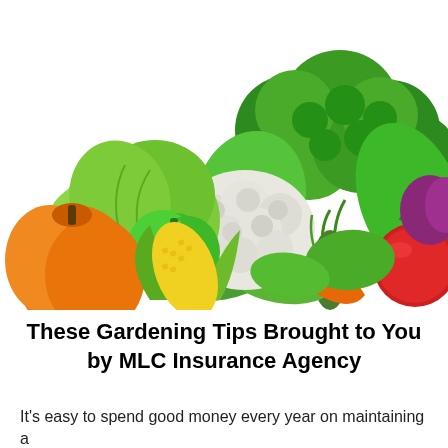[Figure (illustration): A colorful illustration of various vegetables including broccoli, cauliflower, lettuce, green pepper, orange bell pepper, corn, carrot, tomato, and leafy greens arranged together.]
These Gardening Tips Brought to You by MLC Insurance Agency
It's easy to spend good money every year on maintaining a